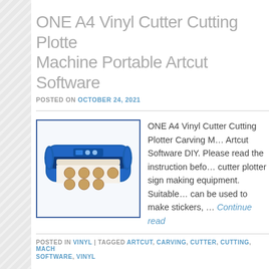ONE A4 Vinyl Cutter Cutting Plotter Machine Portable Artcut Software
POSTED ON OCTOBER 24, 2021
[Figure (photo): Blue vinyl cutter plotter machine with paper/sticker sheets being fed through it]
ONE A4 Vinyl Cutter Cutting Plotter Carving Machine Portable Artcut Software DIY. Please read the instruction before using cutter plotter sign making equipment. Suitable can be used to make stickers, … Continue read
POSTED IN VINYL | TAGGED ARTCUT, CARVING, CUTTER, CUTTING, MACH SOFTWARE, VINYL
A4 Vinyl Cutter Cutting Plotter Carving Machine Portable Artcut Software